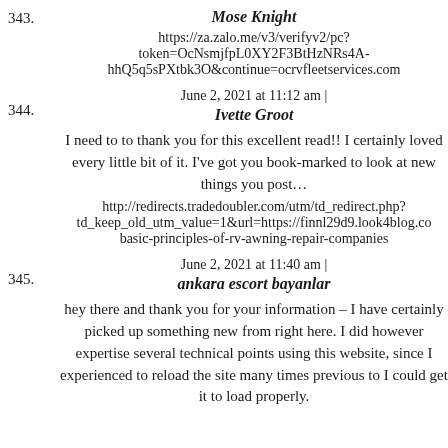343. Mose Knight
https://za.zalo.me/v3/verifyv2/pc?token=OcNsmjfpL0XY2F3BtHzNRs4A-hhQ5q5sPXtbk3O&continue=ocrvfleetservices.com
June 2, 2021 at 11:12 am | 344. Ivette Groot
I need to to thank you for this excellent read!! I certainly loved every little bit of it. I've got you book-marked to look at new things you post…
http://redirects.tradedoubler.com/utm/td_redirect.php?td_keep_old_utm_value=1&url=https://finnl29d9.look4blog.co basic-principles-of-rv-awning-repair-companies
June 2, 2021 at 11:40 am | 345. ankara escort bayanlar
hey there and thank you for your information – I have certainly picked up something new from right here. I did however expertise several technical points using this website, since I experienced to reload the site many times previous to I could get it to load properly.